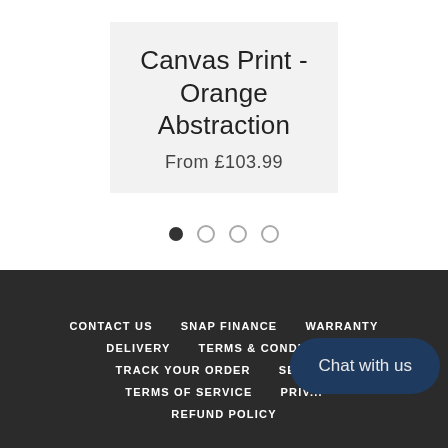Canvas Print - Orange Abstraction
From £103.99
[Figure (other): Carousel pagination dots: one filled dark circle followed by three outline circles]
CONTACT US   SNAP FINANCE   WARRANTY   DELIVERY   TERMS & CONDITIONS   TRACK YOUR ORDER   SEARCH   TERMS OF SERVICE   PRIV...   REFUND POLICY
Chat with us